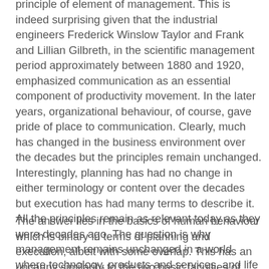principle of element of management. This is indeed surprising given that the industrial engineers Frederick Winslow Taylor and Frank and Lillian Gilbreth, in the scientific management period approximately between 1880 and 1920, emphasized communication as an essential component of productivity movement. In the later years, organizational behaviour, of course, gave pride of place to communication. Clearly, much has changed in the business environment over the decades but the principles remain unchanged. Interestingly, planning has had no change in either terminology or content over the decades but execution has had many terms to describe it. All the principles remain as relevant today as they were decades ago. The question is why management remains unchanged in a world where technology, products and services, and life expectations dramatically evolve with time.
The answer lies in the basics of human behaviour which is binary in terms of planning and execution, albeit with some overlap. This has an uncanny similarity to the two basic faculties of human mind, namely thought and action. In both cases, however, expression (or, communication) is the bridge. Increasingly in modern world, appropriate managerial communication is the key to differentiation, and sustainable success.  Despite high educational levels and